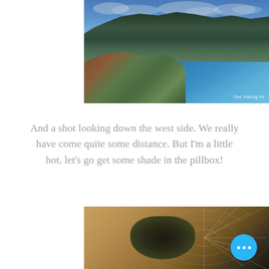[Figure (photo): Aerial coastal landscape photograph showing green mountain ridge descending to a blue ocean bay, with rocky cliffs and vegetation in the foreground. Watermark reads 'The Hiking Hi' in bottom right corner.]
And a shot looking down the west side. We really have come quite some distance. But I'm a little hot, let's go get some shade in the pillbox!
[Figure (photo): Close-up macro photograph of a spider on its web against a warm golden-beige background, with a blue circular action button overlay showing three white dots.]